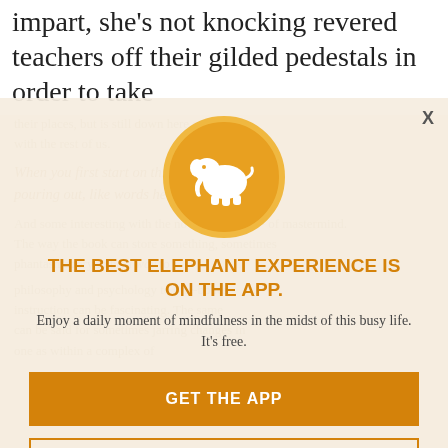impart, she's not knocking revered teachers off their gilded pedestals in order to take
their places, but is still down here struggling with the rest of us...
When you first start on this path, it may come pouring out, like words here.
And some interesting with the no- or almost-no. The way the books can store something, phantasmagory... philosophy and psychology to bite-bones instruction can be fascinating. The same can be said for sometimes jarring changes in one as within a complex of
[Figure (logo): Elephant Journal app icon: white elephant silhouette on orange/gold circle with gold border]
THE BEST ELEPHANT EXPERIENCE IS ON THE APP.
Enjoy a daily moment of mindfulness in the midst of this busy life. It's free.
GET THE APP
OPEN IN APP